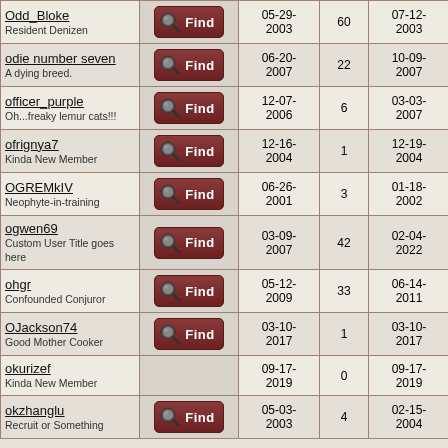| User | Find | Joined | Posts | Last Post | Birthday |
| --- | --- | --- | --- | --- | --- |
| Odd_Bloke
Resident Denizen | Find | 05-29-2003 | 60 | 07-12-2003 | January 19, 1988 |
| odie number seven
A dying breed. | Find | 06-20-2007 | 22 | 10-09-2007 |  |
| officer_purple
Oh...freaky lemur cats!!! | Find | 12-07-2006 | 6 | 03-03-2007 | November 22, 1991 |
| ofrignya7
Kinda New Member | Find | 12-16-2004 | 1 | 12-19-2004 |  |
| OGREMkIV
Neophyte-in-training | Find | 06-26-2001 | 3 | 01-18-2002 |  |
| ogwen69
Custom User Title goes here | Find | 03-09-2007 | 42 | 02-04-2022 |  |
| ohgr
Confounded Conjuror | Find | 05-12-2009 | 33 | 06-14-2011 |  |
| OJackson74
Good Mother Cooker | Find | 03-10-2017 | 1 | 03-10-2017 |  |
| okurizef
Kinda New Member |  | 09-17-2019 | 0 | 09-17-2019 |  |
| okzhanglu
Recruit or Something | Find | 05-03-2003 | 4 | 02-15-2004 | February 12, 1977 |